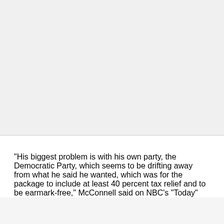[Figure (other): Blank gray area at top of page, likely where an image or graphic was placed]
"His biggest problem is with his own party, the Democratic Party, which seems to be drifting away from what he said he wanted, which was for the package to include at least 40 percent tax relief and to be earmark-free," McConnell said on NBC's "Today"